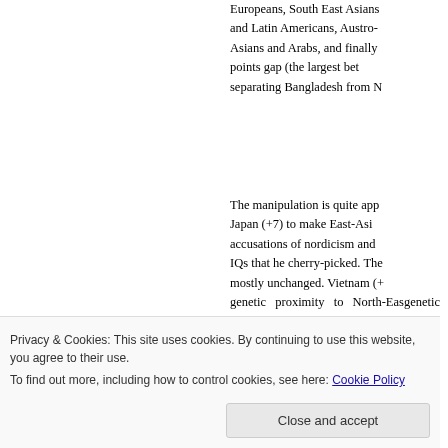Europeans, South East Asians and Latin Americans, Austro-Asians and Arabs, and finally points gap (the largest bet separating Bangladesh from N
The manipulation is quite app Japan (+7) to make East-Asi accusations of nordicism and IQs that he cherry-picked. The mostly unchanged. Vietnam (+ genetic proximity to North-Eas of
Privacy & Cookies: This site uses cookies. By continuing to use this website, you agree to their use.
To find out more, including how to control cookies, see here: Cookie Policy